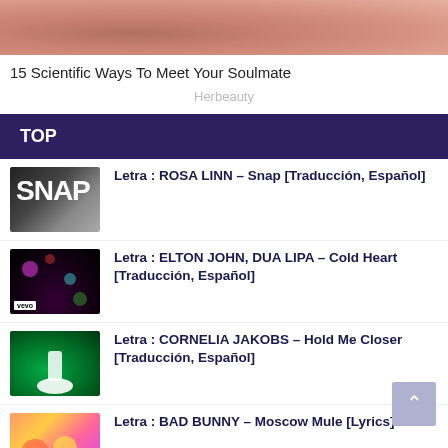[Figure (photo): Close-up photo of a person's face/skin, shown partially cropped]
15 Scientific Ways To Meet Your Soulmate
Herbeauty
TOP
Letra : ROSA LINN – Snap [Traducción, Español]
Letra : ELTON JOHN, DUA LIPA – Cold Heart [Traducción, Español]
Letra : CORNELIA JAKOBS – Hold Me Closer [Traducción, Español]
Letra : BAD BUNNY – Moscow Mule [Lyrics]